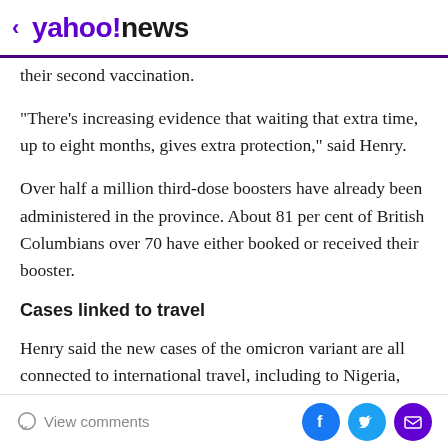< yahoo!news
their second vaccination.
"There's increasing evidence that waiting that extra time, up to eight months, gives extra protection," said Henry.
Over half a million third-dose boosters have already been administered in the province. About 81 per cent of British Columbians over 70 have either booked or received their booster.
Cases linked to travel
Henry said the new cases of the omicron variant are all connected to international travel, including to Nigeria, Egypt, countries in southern Africa and Iran. The patients
View comments